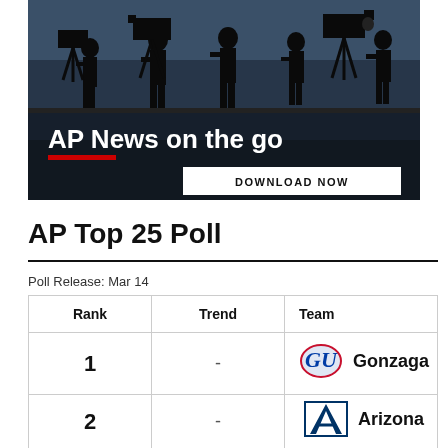[Figure (photo): AP News on the go advertisement banner showing silhouettes of camera operators/journalists against a dark background, with a red underline bar and a 'DOWNLOAD NOW' button]
AP Top 25 Poll
Poll Release: Mar 14
| Rank | Trend | Team |
| --- | --- | --- |
| 1 | - | Gonzaga |
| 2 | - | Arizona |